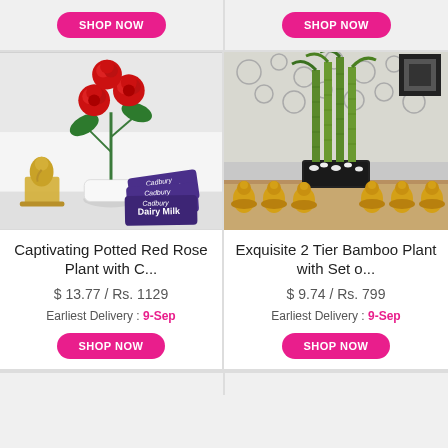[Figure (photo): Top strip showing two SHOP NOW buttons (partially visible from previous products)]
[Figure (photo): Photo of Captivating Potted Red Rose Plant with Cadbury Dairy Milk chocolates and Ganesh idol]
Captivating Potted Red Rose Plant with C...
$ 13.77 / Rs. 1129
Earliest Delivery : 9-Sep
[Figure (photo): SHOP NOW button for first product]
[Figure (photo): Photo of Exquisite 2 Tier Bamboo Plant with Set of golden Buddha figurines]
Exquisite 2 Tier Bamboo Plant with Set o...
$ 9.74 / Rs. 799
Earliest Delivery : 9-Sep
[Figure (photo): SHOP NOW button for second product]